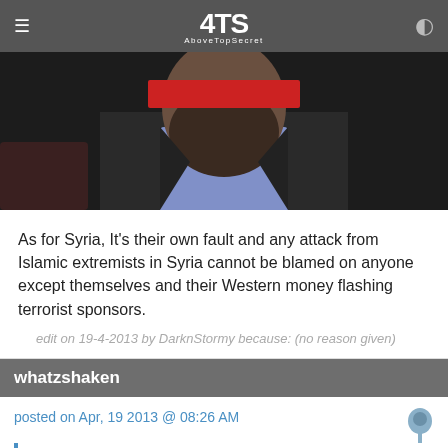ATS AboveTopSecret
[Figure (photo): Video thumbnail showing a bearded man in a dark suit and light purple shirt, face obscured with a red bar, appears to be speaking at a podium or in a formal setting.]
As for Syria, It's their own fault and any attack from Islamic extremists in Syria cannot be blamed on anyone except themselves and their Western money flashing terrorist sponsors.
edit on 19-4-2013 by DarknStormy because: (no reason given)
whatzshaken
posted on Apr, 19 2013 @ 08:26 AM